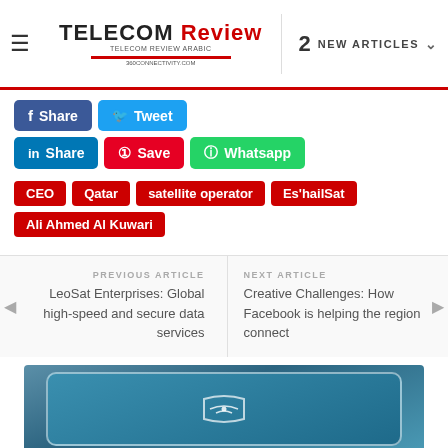TELECOM Review | 2 NEW ARTICLES
Share (Facebook)
Tweet (Twitter)
Share (LinkedIn)
Save (Pinterest)
Whatsapp
CEO
Qatar
satellite operator
Es'hailSat
Ali Ahmed Al Kuwari
PREVIOUS ARTICLE
LeoSat Enterprises: Global high-speed and secure data services
NEXT ARTICLE
Creative Challenges: How Facebook is helping the region connect
[Figure (screenshot): Blue-teal gradient background with a white-bordered rounded rectangle containing a communication/network icon]